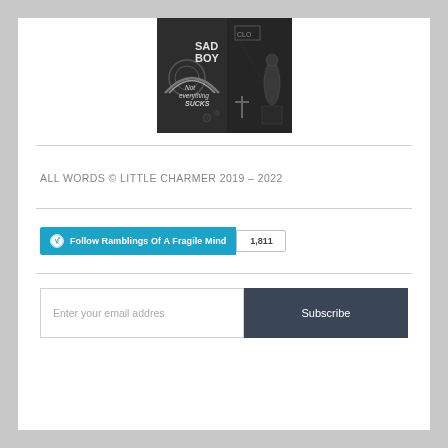[Figure (illustration): Black and white collage image with text 'SAD BOY' and 'Not everything SUCKS' among various graphic elements]
ALL WORDS © LITTLE CHARMER 2019 – 2022
[Figure (infographic): WordPress Follow button for 'Ramblings Of A Fragile Mind' with follower count of 1,811]
Enter your email addres
Subscribe